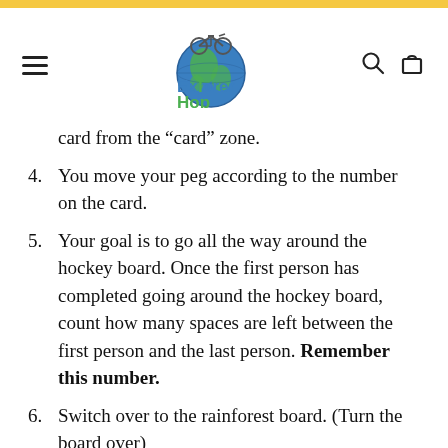Explorer Hop
card from the “card” zone.
4. You move your peg according to the number on the card.
5. Your goal is to go all the way around the hockey board. Once the first person has completed going around the hockey board, count how many spaces are left between the first person and the last person. Remember this number.
6. Switch over to the rainforest board. (Turn the board over)